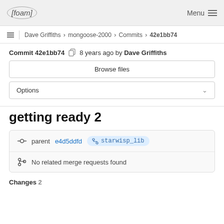[foam] Menu
Dave Griffiths > mongoose-2000 > Commits > 42e1bb74
Commit 42e1bb74  8 years ago by Dave Griffiths
Browse files
Options
getting ready 2
parent e4d5ddfd  starwisp_lib
No related merge requests found
Changes 2